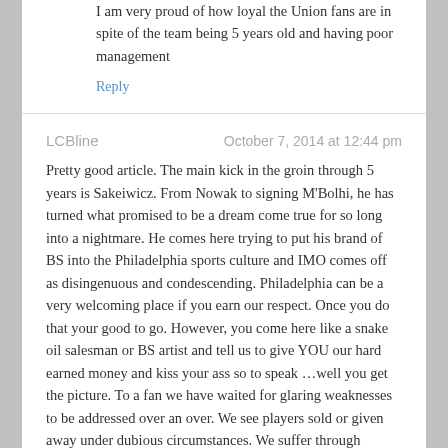I am very proud of how loyal the Union fans are in spite of the team being 5 years old and having poor management
Reply
LCBline    October 7, 2014 at 12:44 pm
Pretty good article. The main kick in the groin through 5 years is Sakeiwicz. From Nowak to signing M'Bolhi, he has turned what promised to be a dream come true for so long into a nightmare. He comes here trying to put his brand of BS into the Philadelphia sports culture and IMO comes off as disingenuous and condescending. Philadelphia can be a very welcoming place if you earn our respect. Once you do that your good to go. However, you come here like a snake oil salesman or BS artist and tell us to give YOU our hard earned money and kiss your ass so to speak …well you get the picture. To a fan we have waited for glaring weaknesses to be addressed over an over. We see players sold or given away under dubious circumstances. We suffer through Hackworth. Then we use the top draft pick on a keeper and our long awaited striker turns out to be another keeper who by the